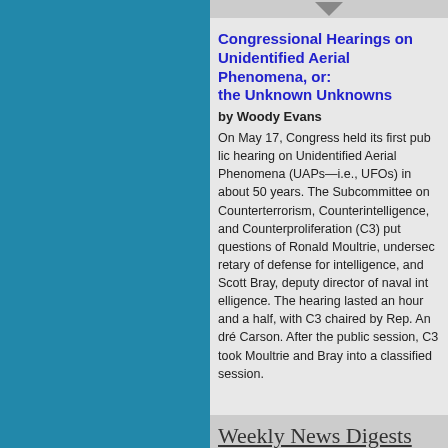Congressional Hearings on Unidentified Aerial Phenomena, or: the Unknown Unknowns
by Woody Evans
On May 17, Congress held its first pub... (UAPs—i.e., UFOs) in about 50 years... Counterterrorism, Counterintelligence,... questions of Ronald Moultrie, undersec... Scott Bray, deputy director of naval int... and a half, with C3 chaired by Rep. An... took Moultrie and Bray into a classifie...
Weekly News Digests
Dubai-Based Kaloscope Social M...
The Metaverse Blog shared "How We... Kaloscope Is Transforming Business &... which states the following: "Kaloscope... metaverse'. It is defined as a Web-3, d... between the physical and virtual world... within the Non-Fungible Tokens (NFTs...
Patron Point Updates Its Recomm...